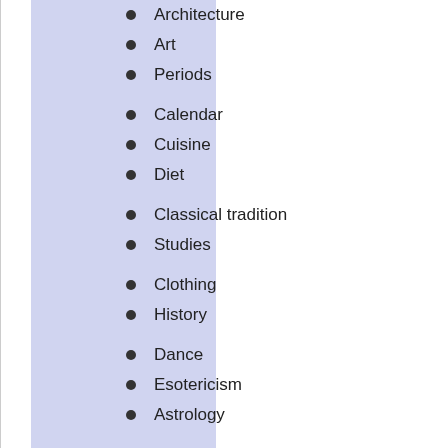Architecture
Art
Periods
Calendar
Cuisine
Diet
Classical tradition
Studies
Clothing
History
Dance
Esotericism
Astrology
Folklore
Law
Languages
Eurolinguistics